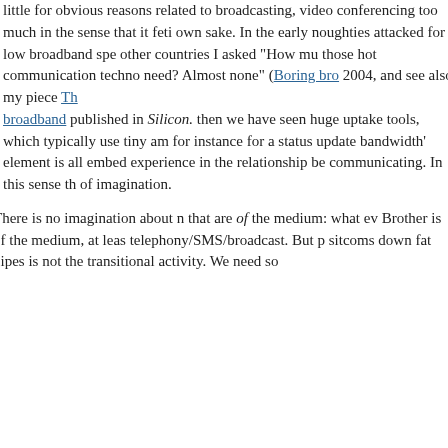little for obvious reasons related to broadcasting, video conferencing too much in the sense that it fetishes technology for its own sake. In the early noughties the UK was attacked for low broadband speeds, and compared to other countries I asked "How much bandwidth do those hot communication technologies of the day need? Almost none" (Boring broadband 2004, and see also my piece The importance of broadband published in Silicon.com). Since then we have seen huge uptake of social media tools, which typically use tiny amounts of data (for instance for a status update or tweet). The 'bandwidth' element is all embedded within the experience in the relationship between those communicating. In this sense the failure is one of imagination.
5. There is no imagination about media that are of the medium: what even Big Brother is of the medium, at least via telephony/SMS/broadcast. But pumping sitcoms down fat pipes is not the same. It's a transitional activity. We need so...